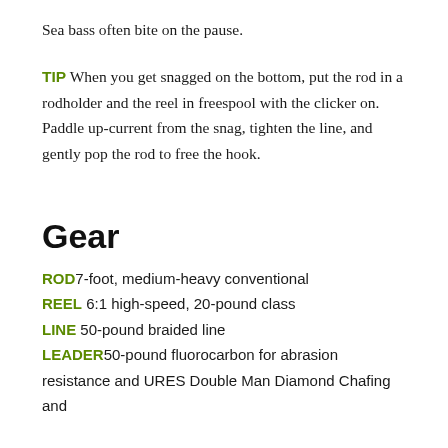Sea bass often bite on the pause.
TIP When you get snagged on the bottom, put the rod in a rodholder and the reel in freespool with the clicker on. Paddle up-current from the snag, tighten the line, and gently pop the rod to free the hook.
Gear
ROD 7-foot, medium-heavy conventional
REEL 6:1 high-speed, 20-pound class
LINE 50-pound braided line
LEADER 50-pound fluorocarbon for abrasion
resistance and URES Double Man Diamond Chafing and